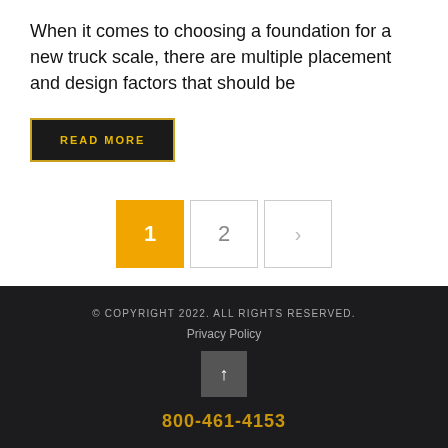When it comes to choosing a foundation for a new truck scale, there are multiple placement and design factors that should be
READ MORE
1  2  >
© COPYRIGHT 2022. ALL RIGHTS RESERVED.
Privacy Policy
800-461-4153